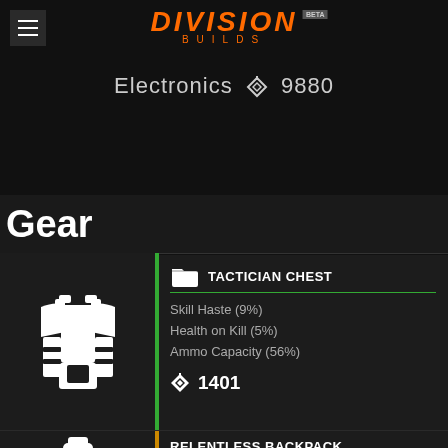DIVISION BUILDS BETA
Electronics 9880
Gear
[Figure (illustration): Tactician chest armor vest icon in white on dark background]
TACTICIAN CHEST
Skill Haste (9%)
Health on Kill (5%)
Ammo Capacity (56%)
1401
RELENTLESS BACKPACK
Skill Power (13220)